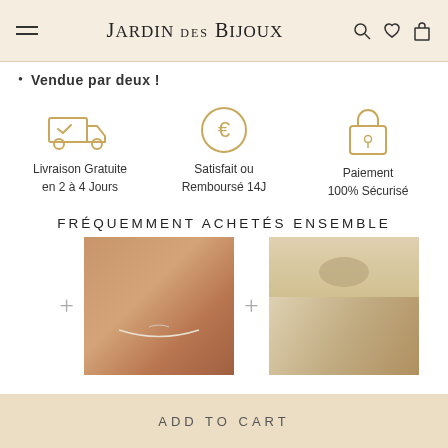Jardin des Bijoux
Vendue par deux !
[Figure (illustration): Three icons: delivery truck (Livraison Gratuite en 2 à 4 Jours), euro circle (Satisfait ou Remboursé 14J), padlock (Paiement 100% Sécurisé)]
FRÉQUEMMENT ACHETÉS ENSEMBLE
[Figure (photo): Two product photos: a bracelet on a wrist and a hair accessory being worn by a blonde woman]
ADD TO CART